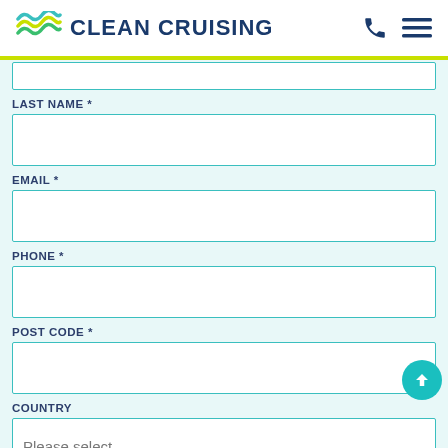CLEAN CRUISING
LAST NAME *
EMAIL *
PHONE *
POST CODE *
COUNTRY
Please select